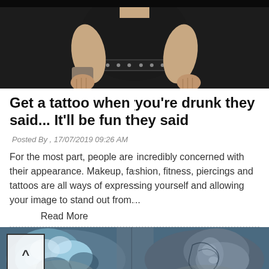[Figure (photo): Top portion of a person with tattoos on arms/wrists wearing a black outfit, arms raised, cropped at top of page]
Get a tattoo when you're drunk they said... It'll be fun they said
Posted By , 17/07/2019 09:26 AM
For the most part, people are incredibly concerned with their appearance. Makeup, fashion, fitness, piercings and tattoos are all ways of expressing yourself and allowing your image to stand out from...
Read More
[Figure (photo): Close-up of elaborately tattooed arms/hands with blue and grey tattoo art, including face and figure motifs]